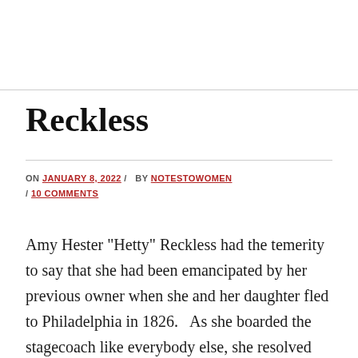Reckless
ON JANUARY 8, 2022 / BY NOTESTOWOMEN / 10 COMMENTS
Amy Hester "Hetty" Reckless had the temerity to say that she had been emancipated by her previous owner when she and her daughter fled to Philadelphia in 1826.  As she boarded the stagecoach like everybody else, she resolved not